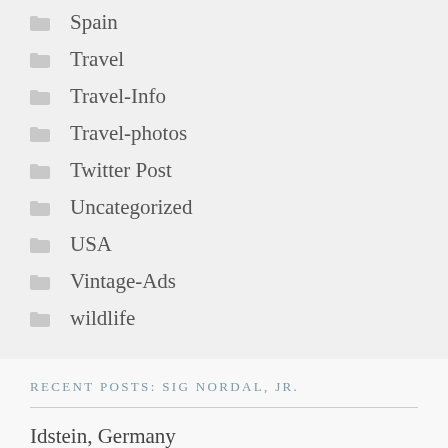Spain
Travel
Travel-Info
Travel-photos
Twitter Post
Uncategorized
USA
Vintage-Ads
wildlife
RECENT POSTS: SIG NORDAL, JR.
Idstein, Germany
via All things Europe https://ift.tt/3lMK3yI